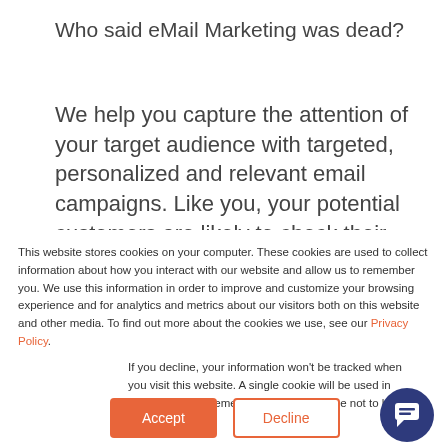Who said eMail Marketing was dead?
We help you capture the attention of your target audience with targeted, personalized and relevant email campaigns. Like you, your potential customers are likely to check their
This website stores cookies on your computer. These cookies are used to collect information about how you interact with our website and allow us to remember you. We use this information in order to improve and customize your browsing experience and for analytics and metrics about our visitors both on this website and other media. To find out more about the cookies we use, see our Privacy Policy.
If you decline, your information won't be tracked when you visit this website. A single cookie will be used in your browser to remember your preference not to be tracked.